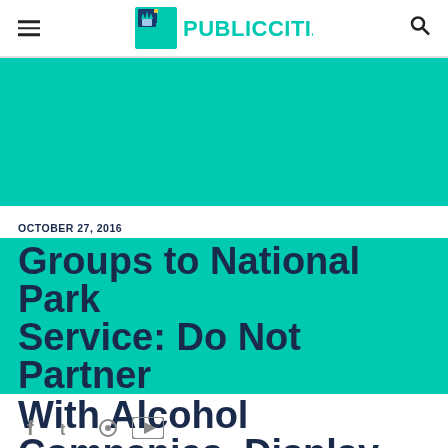Public Citizen
[Figure (logo): Public Citizen logo with Statue of Liberty icon and teal text reading PUBLICCITIZEN]
OCTOBER 27, 2016
Groups to National Park Service: Do Not Partner With Alcohol Companies, Display Alcohol Ads in Parks